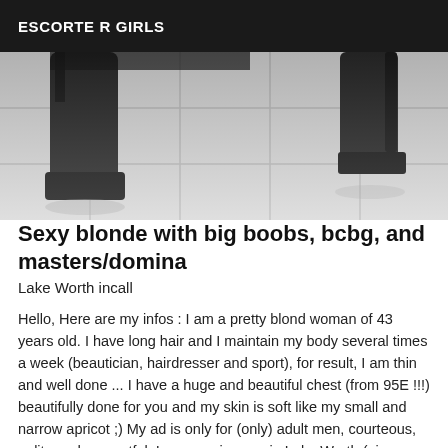ESCORTE R GIRLS
[Figure (photo): Black and white photo showing the lower legs and high-heeled boots of a woman standing on a tiled floor]
Sexy blonde with big boobs, bcbg, and masters/domina
Lake Worth incall
Hello, Here are my infos : I am a pretty blond woman of 43 years old. I have long hair and I maintain my body several times a week (beautician, hairdresser and sport), for result, I am thin and well done ... I have a huge and beautiful chest (from 95E !!!) beautifully done for you and my skin is soft like my small and narrow apricot ;) My ad is only for (only) adult men, courteous, polite and respectful. I can receive you in Lake Worth (nice